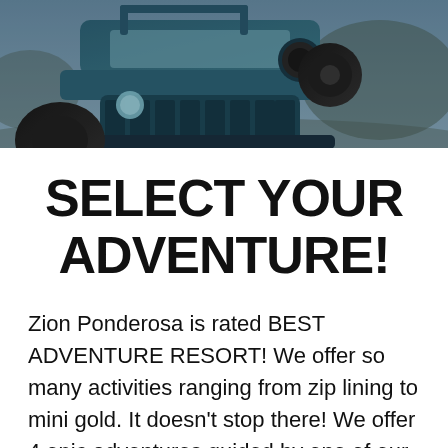[Figure (photo): Close-up photograph of a teal/blue Jeep Wrangler from the front-left angle, showing large off-road tires, grill, headlight, and spare tire mount. Outdoors with muted blue-grey tones.]
SELECT YOUR ADVENTURE!
Zion Ponderosa is rated BEST ADVENTURE RESORT! We offer so many activities ranging from zip lining to mini gold. It doesn't stop there! We offer 4 epic adventures guided by one of our own experts. There is so much to do at Ponderosa so start your adventure today!